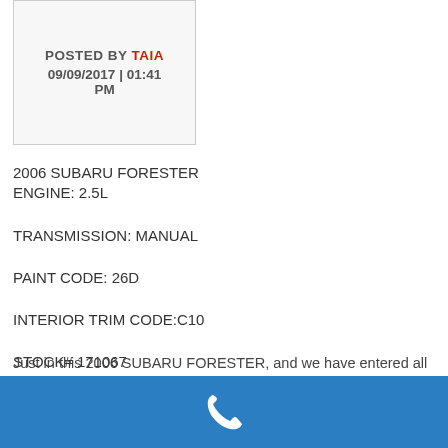POSTED BY TAIA
09/09/2017 | 01:41 PM
2006 SUBARU FORESTER
ENGINE: 2.5L
TRANSMISSION: MANUAL
PAINT CODE: 26D
INTERIOR TRIM CODE:C10
STOCK# 171067
Just in this 2006 SUBARU FORESTER, and we have entered all
[Figure (other): Blue footer bar with a white phone/call icon in the center]